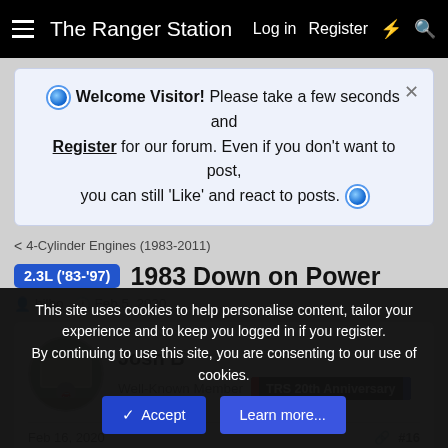The Ranger Station  Log in  Register
Welcome Visitor! Please take a few seconds and Register for our forum. Even if you don't want to post, you can still 'Like' and react to posts.
< 4-Cylinder Engines (1983-2011)
2.3L ('83-'97)  1983 Down on Power
bilbo · Feb 5, 2020
Josh B
Well-Known Member  TRS 20th Anniversary
Feb 16, 2020  #16
This site uses cookies to help personalise content, tailor your experience and to keep you logged in if you register.
By continuing to use this site, you are consenting to our use of cookies.